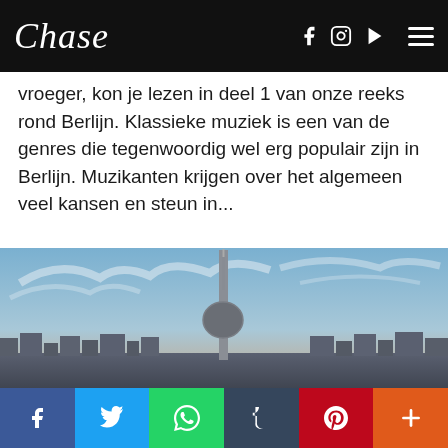Chase
vroeger, kon je lezen in deel 1 van onze reeks rond Berlijn. Klassieke muziek is een van de genres die tegenwoordig wel erg populair zijn in Berlijn. Muzikanten krijgen over het algemeen veel kansen en steun in...
[Figure (photo): Aerial photo of the Berlin TV Tower (Fernsehturm) rising above the city skyline, with a dramatic blue and pink sky with wispy clouds.]
Social share bar: Facebook, Twitter, WhatsApp, Tumblr, Pinterest, More